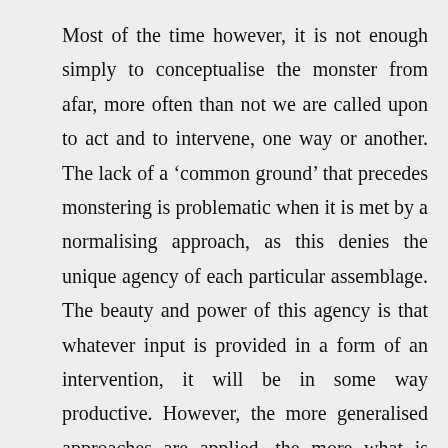Most of the time however, it is not enough simply to conceptualise the monster from afar, more often than not we are called upon to act and to intervene, one way or another. The lack of a ‘common ground’ that precedes monstering is problematic when it is met by a normalising approach, as this denies the unique agency of each particular assemblage. The beauty and power of this agency is that whatever input is provided in a form of an intervention, it will be in some way productive. However, the more generalised approaches are applied, the more what is produced might disrupt the assemblage and/or diverge from the intentions of the intervention. The problem with spatial practices is mostly that a cursory analysis of a situation is followed up with an identification of a ‘problem’, for which then promptly a